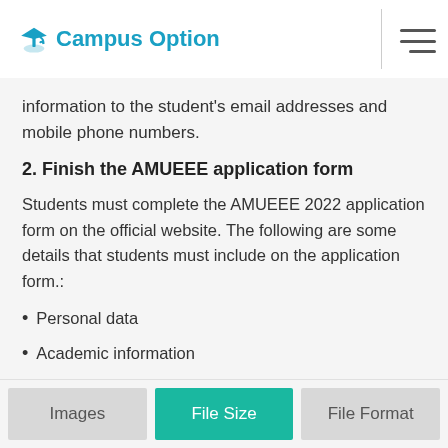Campus Option
information to the student's email addresses and mobile phone numbers.
2. Finish the AMUEEE application form
Students must complete the AMUEEE 2022 application form on the official website. The following are some details that students must include on the application form.:
Personal data
Academic information
Permanent addresses
Images | File Size | File Format